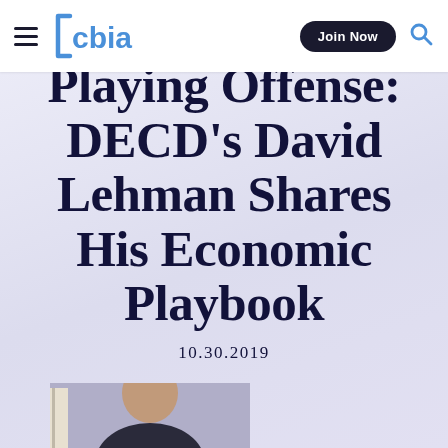cbia | Join Now
Playing Offense: DECD's David Lehman Shares His Economic Playbook
10.30.2019
[Figure (photo): Partial photo of a person at the bottom of the page]